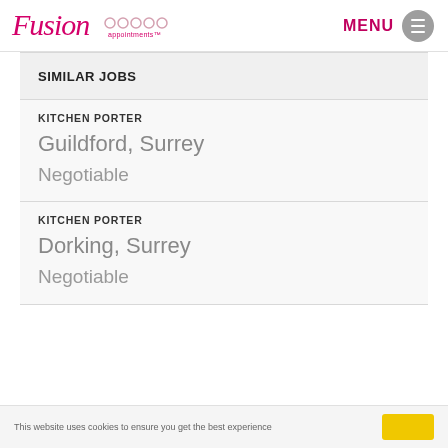Fusion Appointments — MENU
SIMILAR JOBS
KITCHEN PORTER — Guildford, Surrey — Negotiable
KITCHEN PORTER — Dorking, Surrey — Negotiable
This website uses cookies to ensure you get the best experience